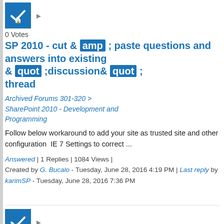[Figure (other): Blue checkbox with lock icon and answered status indicator]
0 Votes
SP 2010 - cut & amp ; paste questions and answers into existing & quot ;discussion& quot ; thread
Archived Forums 301-320 > SharePoint 2010 - Development and Programming
Follow below workaround to add your site as trusted site and other configuration  IE 7 Settings to correct ...
Answered | 1 Replies | 1084 Views | Created by G. Bucalo - Tuesday, June 28, 2016 4:19 PM | Last reply by karimSP - Tuesday, June 28, 2016 7:36 PM
[Figure (other): Blue checkbox with lock icon and answered status indicator]
0 Votes
single quotes and double quotes issue
Archived Forums 261-280 >